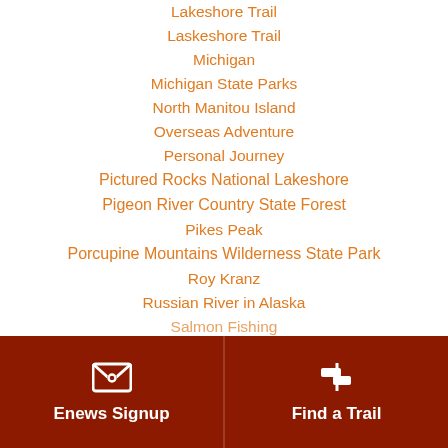Lakeshore Trail
Laskeshore Trail
Michigan
Michigan State Parks
North Manitou Island
Overseas Adventure
Personal Journey
Pictured Rocks National Lakeshore
Pigeon River Country State Forest
Pikes Peak
Porcupine Mountains Wilderness State Park
Roy Kranz
Russian River in Alaska
Salmon Fishing
Enews Signup | Find a Trail